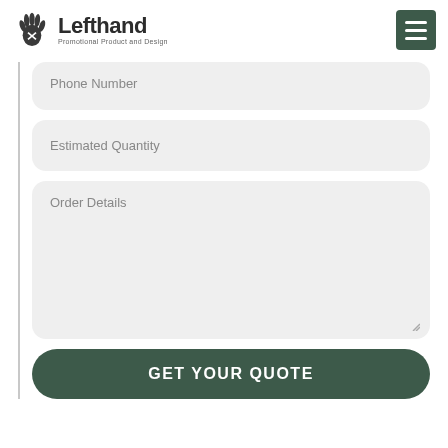[Figure (logo): Lefthand Promotional Product and Design logo with hand icon]
Phone Number
Estimated Quantity
Order Details
GET YOUR QUOTE